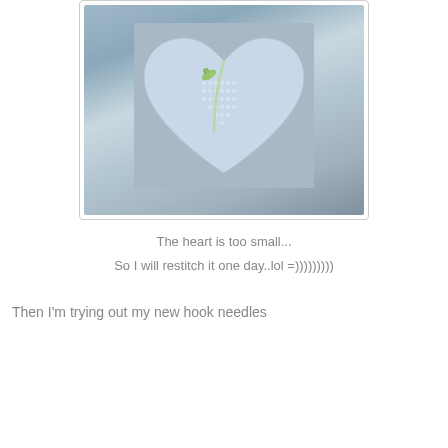[Figure (photo): A light blue heart-shaped cross-stitch cushion with a snowdrop flower embroidered on it, resting on a wooden surface.]
The heart is too small...
So I will restitch it one day..lol =)))))))))
Then I'm trying out my new hook needles
[Figure (photo): A ball of white yarn with a gold crochet hook and a small crocheted lace piece on a wooden table.]